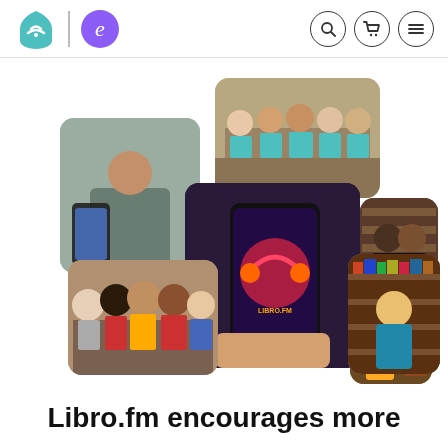Libro.fm | Scribd navigation header
[Figure (photo): Collage of 7 photos: person holding smartphone with Libro.fm app, group of people in a bookstore wearing matching t-shirts, smartphone showing audiobook app screen, two people in matching sweaters in a bookstore, group of diverse friends posing together, young person in a bookstore, woman browsing books in a bookstore]
Libro.fm encourages more